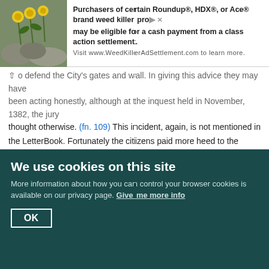[Figure (other): Advertisement banner with plant/flower photo on left and text about Roundup/HDX/Ace brand weed killer class action settlement]
o defend the City's gates and wall. In giving this advice they may have been acting honestly, although at the inquest held in November, 1382, the jury thought otherwise. (fn. 109) This incident, again, is not mentioned in the LetterBook. Fortunately the citizens paid more heed to the Mayor than to the Aldermen, and within half an hour a considerable force was despatched to the King under the leadership of Sir Robert Knolles, (fn. 110) whilst Walworth returned to Smithfield to look for Tyler, whom he supposed to be still alive. On learning that he had been carried, more dead than alive, to St. Bartholomew's Hospital hard by, Walworth proceeded there, and, finding the wretched man, had him brought out to the middle of Smithfield and there beheaded. He then set out to join the King at Clerkenwell, with Tyler's head borne on a pike. The sight of their leader's head and the large force with which they found themselves unexpectedly surrounded brought the rebels to reason. They expected to be annihilated, but to their great joy the King allowed them freely to depart. Thus was peace restored. In token of gratitude for the aid thus rendered him by the City, the King knighted there and then not only the Mayor,
We use cookies on this site
More information about how you can control your browser cookies is available on our privacy page. Give me more info
OK